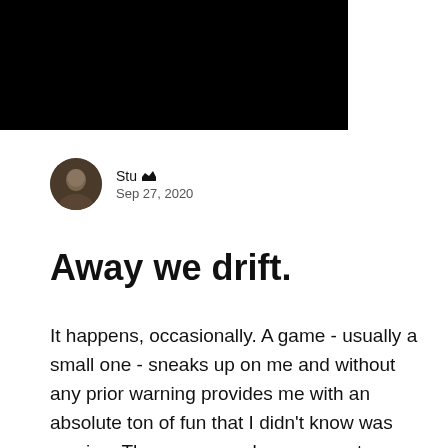[Figure (other): Black header banner spanning left portion of page with hamburger menu icon in top right corner]
Stu Admin
Sep 27, 2020
Away we drift.
It happens, occasionally. A game - usually a small one - sneaks up on me and without any prior warning provides me with an absolute ton of fun that I didn't know was coming. These games always seem to eschew hype, and instead land in my lap through that far more valuable and reliable source of information: word of mouth. Hotshot